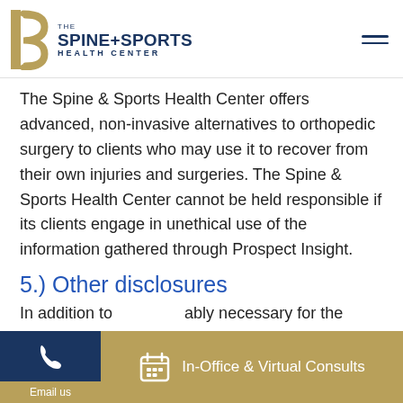[Figure (logo): The Spine+Sports Health Center logo with golden S icon and navy text]
The Spine & Sports Health Center offers advanced, non-invasive alternatives to orthopedic surgery to clients who may use it to recover from their own injuries and surgeries. The Spine & Sports Health Center cannot be held responsible if its clients engage in unethical use of the information gathered through Prospect Insight.
5.) Other disclosures
In addition to...ably necessary for the purposes